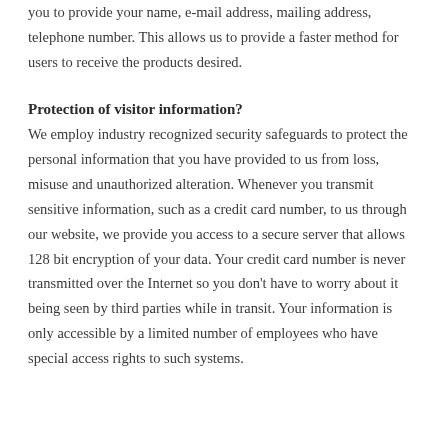you to provide your name, e-mail address, mailing address, telephone number. This allows us to provide a faster method for users to receive the products desired.
Protection of visitor information?
We employ industry recognized security safeguards to protect the personal information that you have provided to us from loss, misuse and unauthorized alteration. Whenever you transmit sensitive information, such as a credit card number, to us through our website, we provide you access to a secure server that allows 128 bit encryption of your data. Your credit card number is never transmitted over the Internet so you don't have to worry about it being seen by third parties while in transit. Your information is only accessible by a limited number of employees who have special access rights to such systems.